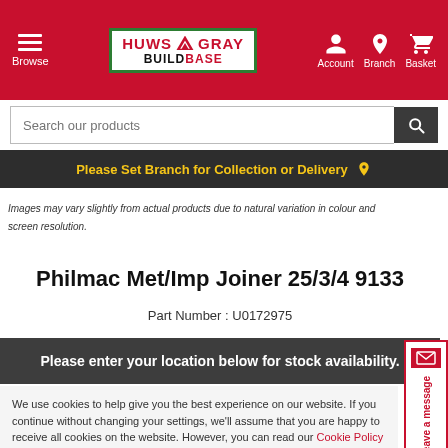[Figure (logo): Huws Gray Buildbase logo in white box with green border]
Browse
Account Branch Basket
Search our products
Please Set Branch for Collection or Delivery
Images may vary slightly from actual products due to natural variation in colour and screen resolution.
Philmac Met/Imp Joiner 25/3/4 9133
Part Number : U0172975
Please enter your location below for stock availability.
We use cookies to help give you the best experience on our website. If you continue without changing your settings, we'll assume that you are happy to receive all cookies on the website. However, you can read our Cookie Policy here.
Accept and Continue
Offline leave a message